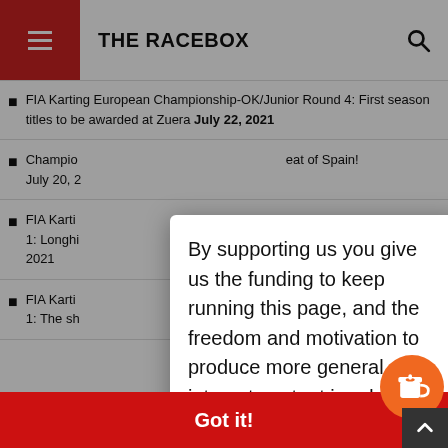THE RACEBOX
FIA Karting European Championship-OK/Junior Round 4: First season titles to be awarded at Zuera July 22, 2021
Championship … eat of Spain! July 20, 2…
FIA Karti… ademy Round 1: Longhi… ny June 20, 2021
FIA Karti… ademy Round 1: The sh… 21
By supporting us you give us the funding to keep running this page, and the freedom and motivation to produce more general interest content in addition to our contracted work, and we thank you for that!
This we… the bes…
Learn m…
Got it!